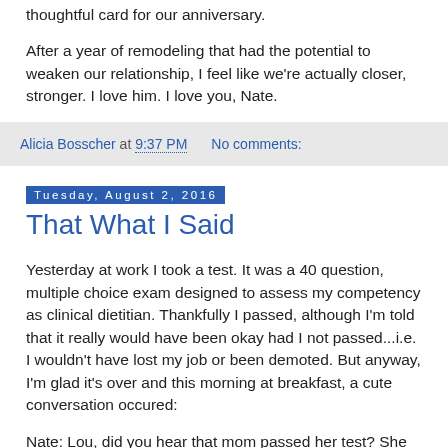thoughtful card for our anniversary.
After a year of remodeling that had the potential to weaken our relationship, I feel like we're actually closer, stronger. I love him. I love you, Nate.
Alicia Bosscher at 9:37 PM    No comments:
Tuesday, August 2, 2016
That What I Said
Yesterday at work I took a test. It was a 40 question, multiple choice exam designed to assess my competency as clinical dietitian. Thankfully I passed, although I'm told that it really would have been okay had I not passed...i.e. I wouldn't have lost my job or been demoted. But anyway, I'm glad it's over and this morning at breakfast, a cute conversation occured:
Nate: Lou, did you hear that mom passed her test? She was really nervous about it, but she did it!